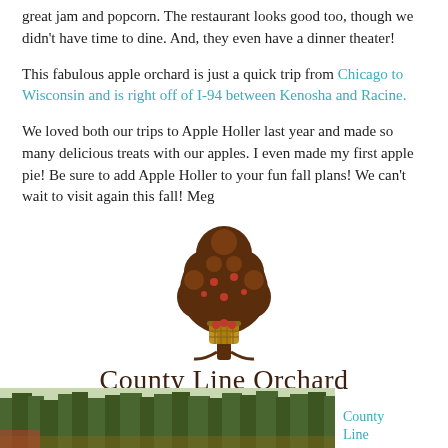great jam and popcorn. The restaurant looks good too, though we didn't have time to dine. And, they even have a dinner theater!
This fabulous apple orchard is just a quick trip from Chicago to Wisconsin and is right off of I-94 between Kenosha and Racine.
We loved both our trips to Apple Holler last year and made so many delicious treats with our apples. I even made my first apple pie! Be sure to add Apple Holler to your fun fall plans! We can't wait to visit again this fall! Meg
[Figure (logo): County Line Orchard logo: brown illustrated apple tree with a basket of apples at the base, with text 'County Line Orchard' below in dark brown serif font.]
[Figure (photo): A photo showing trees and outdoor scenery, partially visible at the bottom of the page.]
County Line